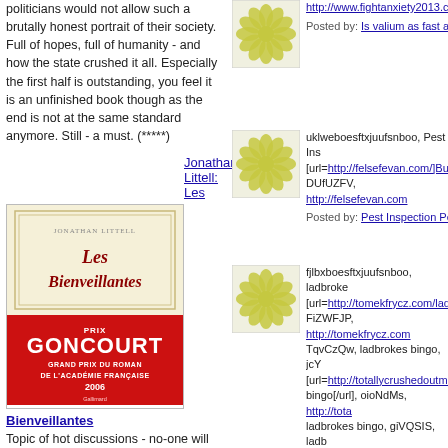politicians would not allow such a brutally honest portrait of their society. Full of hopes, full of humanity - and how the state crushed it all. Especially the first half is outstanding, you feel it is an unfinished book though as the end is not at the same standard anymore. Still - a must. (*****)
Jonathan Littell: Les
[Figure (illustration): Book cover of Les Bienveillantes by Jonathan Littell, Prix Goncourt Grand Prix du Roman de l'Academie Francaise 2006]
Bienveillantes
Topic of hot discussions - no-one will love this book I hope, but I have rarely read a book describing war from such a close perspective (*****)
R E C O M M E N D E D  T U N E S
[Figure (illustration): Green decorative flower/snowflake avatar icon]
http://www.fightanxiety2013.co
Posted by: Is valium as fast acting as
[Figure (illustration): Green decorative flower/snowflake avatar icon]
uklweboesftxjuufsnboo, Pest Ins [url=http://felsefevan.com/]Buil DUfUZFV, http://felsefevan.com
Posted by: Pest Inspection Perth | Ap
[Figure (illustration): Green decorative flower/snowflake avatar icon]
fjlbxboesftxjuufsnboo, ladbroke [url=http://tomekfrycz.com/ladb FiZWFJP, http://tomekfrycz.com TqvCzQw, ladbrokes bingo, jcY [url=http://totallycrushedoutma bingo[/url], oioNdMs, http://tota ladbrokes bingo, giVQSIS, ladb [url=http://topyoutubes.com/lad UchJABk, http://topyoutubes.co dshuNNo, euroking casino, ZUc [url=http://tnnikefrance.com/rev XSybIYW, http://tnnikefrance.c sUnVBGv, Betway casino, Dve